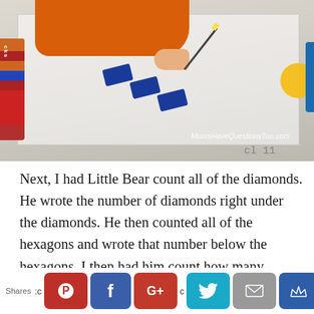[Figure (photo): Child's hand writing on paper with blue diamond-shaped blocks and yellow hexagon shapes on a light surface. A colorful container is visible on the left edge. Watermark reads MomsHaveQuestionsToo.com.]
Next, I had Little Bear count all of the diamonds. He wrote the number of diamonds right under the diamonds. He then counted all of the hexagons and wrote that number below the hexagons. I then had him count how many shapes there were total. He wrote the total at the bottom. We did that a few times until he got
Shares [Pinterest] [Facebook] [G+] [Twitter] [Email] [Crown]